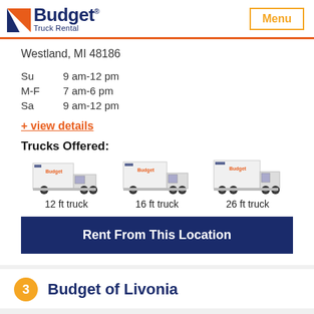Budget Truck Rental | Menu
Westland, MI 48186
Su    9 am-12 pm
M-F   7 am-6 pm
Sa    9 am-12 pm
+ view details
Trucks Offered:
[Figure (photo): Three Budget truck rental vehicles: 12 ft truck, 16 ft truck, and 26 ft truck shown side by side]
Rent From This Location
3  Budget of Livonia